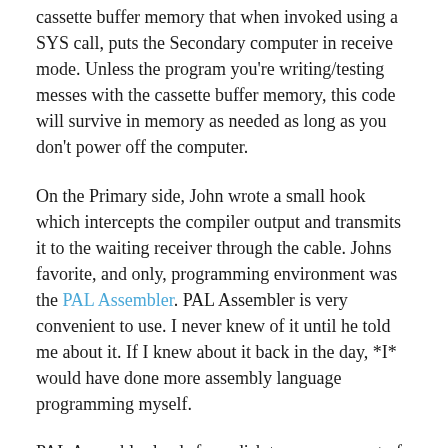cassette buffer memory that when invoked using a SYS call, puts the Secondary computer in receive mode. Unless the program you're writing/testing messes with the cassette buffer memory, this code will survive in memory as needed as long as you don't power off the computer.
On the Primary side, John wrote a small hook which intercepts the compiler output and transmits it to the waiting receiver through the cable. Johns favorite, and only, programming environment was the PAL Assembler. PAL Assembler is very convenient to use. I never knew of it until he told me about it. If I knew about it back in the day, *I* would have done more assembly language programming myself.
PAL Assembler loads from disk to an upper part of RAM, with additional code on a small pocket of RAM near memory address 700. The neat thing about PAL assembler